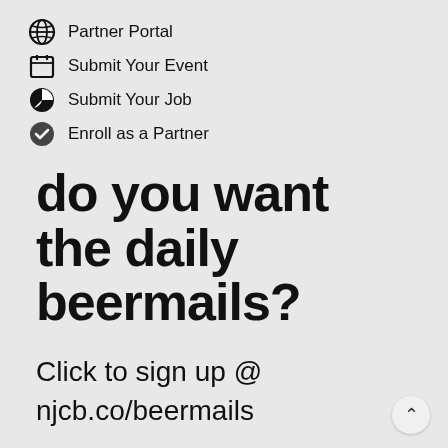Partner Portal
Submit Your Event
Submit Your Job
Enroll as a Partner
do you want the daily beermails?
Click to sign up @ njcb.co/beermails